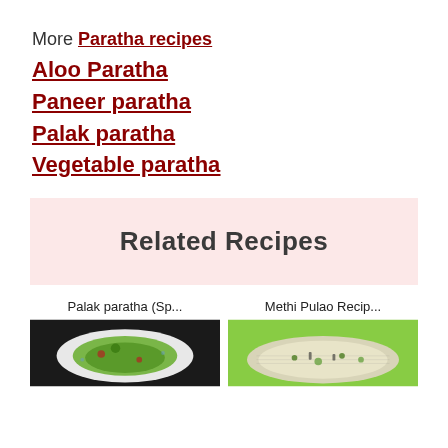More Paratha recipes
Aloo Paratha
Paneer paratha
Palak paratha
Vegetable paratha
Related Recipes
Palak paratha (Sp...
Methi Pulao Recip...
[Figure (photo): Palak paratha dish on a white plate]
[Figure (photo): Methi Pulao in a green bowl]